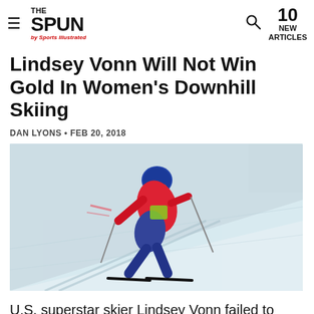THE SPUN by Sports Illustrated — 10 NEW ARTICLES
Lindsey Vonn Will Not Win Gold In Women's Downhill Skiing
DAN LYONS • FEB 20, 2018
[Figure (photo): Lindsey Vonn in a red and blue ski racing suit crouching in a downhill skiing race position on a snowy slope]
U.S. superstar skier Lindsey Vonn failed to